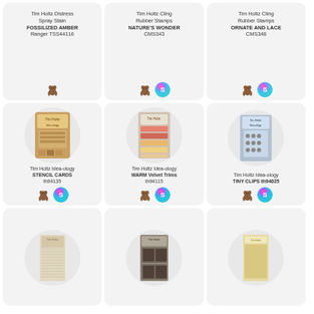[Figure (infographic): Product card: Tim Holtz Distress Spray Stain FOSSILIZED AMBER Ranger TSS44116 with dog icon badge]
[Figure (infographic): Product card: Tim Holtz Cling Rubber Stamps NATURE'S WONDER CMS343 with dog and S badges]
[Figure (infographic): Product card: Tim Holtz Cling Rubber Stamps ORNATE AND LACE CMS348 with dog and S badges]
[Figure (infographic): Product card: Tim Holtz Idea-ology STENCIL CARDS th94135 with product image, dog and S badges]
[Figure (infographic): Product card: Tim Holtz Idea-ology WARM Velvet Trims th94115 with product image, dog and S badges]
[Figure (infographic): Product card: Tim Holtz Idea-ology TINY CLIPS th94025 with product image, dog and S badges]
[Figure (infographic): Product card bottom row left: product image partially visible]
[Figure (infographic): Product card bottom row center: product image partially visible]
[Figure (infographic): Product card bottom row right: product image partially visible]